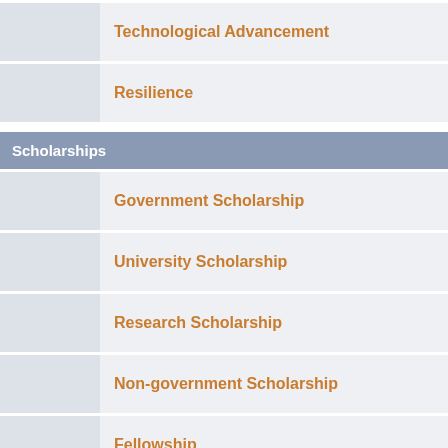Technological Advancement
Resilience
Scholarships
Government Scholarship
University Scholarship
Research Scholarship
Non-government Scholarship
Fellowship
Grants
Career Opportunity
Job Announcement